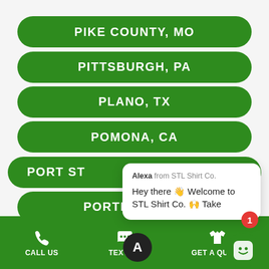PIKE COUNTY, MO
PITTSBURGH, PA
PLANO, TX
POMONA, CA
PORT ST...
PORTLAND, OR
Alexa from STL Shirt Co.
Hey there 👋 Welcome to STL Shirt Co. 🙌 Take
CALL US   TEXT US   GET A QUOTE